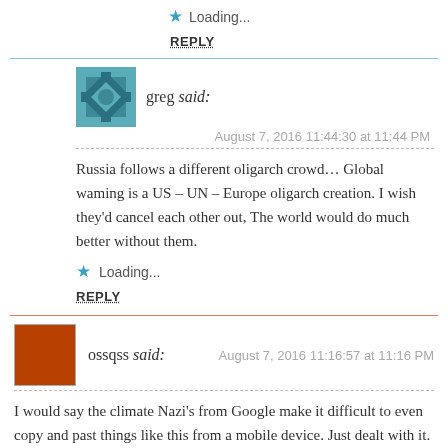Loading...
REPLY
greg said:
August 7, 2016 11:44:30 at 11:44 PM
Russia follows a different oligarch crowd… Global waming is a US – UN – Europe oligarch creation. I wish they'd cancel each other out, The world would do much better without them.
Loading...
REPLY
ossqss said:
August 7, 2016 11:16:57 at 11:16 PM
I would say the climate Nazi's from Google make it difficult to even copy and past things like this from a mobile device. Just dealt with it. Unreal what steps are being taken to truncate any other messages on